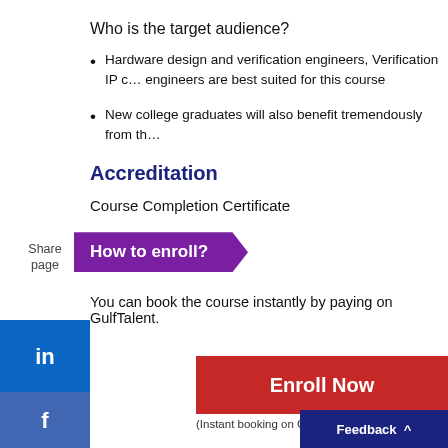Who is the target audience?
Hardware design and verification engineers, Verification IP consultants and engineers are best suited for this course
New college graduates will also benefit tremendously from this course
Accreditation
Course Completion Certificate
How to enroll?
You can book the course instantly by paying on GulfTalent.
Enroll Now
(Instant booking on GulfTalent)
Feedback ^